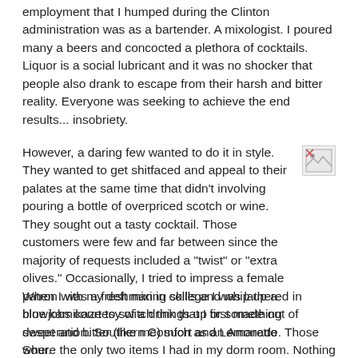employment that I humped during the Clinton administration was as a bartender. A mixologist. I poured many a beers and concocted a plethora of cocktails. Liquor is a social lubricant and it was no shocker that people also drank to escape from their harsh and bitter reality. Everyone was seeking to achieve the end results... insobriety.
However, a daring few wanted to do it in style. They wanted to get shitfaced and appeal to their palates at the same time that didn't involving pouring a bottle of overpriced scotch or wine. They sought out a tasty cocktail. Those customers were few and far between since the majority of requests included a "twist" or "extra olives." Occasionally, I tried to impress a female patron with my deft mixing skills and whip up a blue kamikaze to switch things up or something sweet and bitter (like me) such as an Amaretto Sour.
[Figure (other): Broken image placeholder icon]
When I was a freshman in college I was lathered in blowjobs courtesy of a drink that I first made out of desperation. Southern Comfort and Lemonade. Those where the only two items I had in my dorm room. Nothing got freshmen chicks